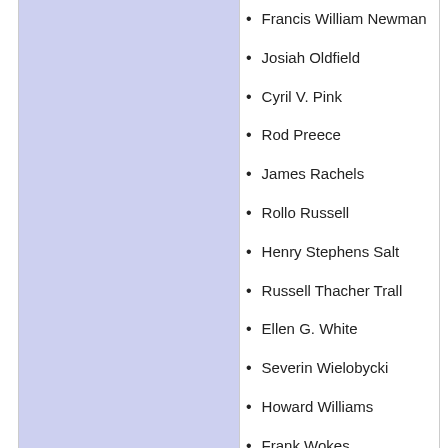Francis William Newman
Josiah Oldfield
Cyril V. Pink
Rod Preece
James Rachels
Rollo Russell
Henry Stephens Salt
Russell Thacher Trall
Ellen G. White
Severin Wielobycki
Howard Williams
Frank Wokes
Jon Wynne-Tyson
Vegetarian and vegan symbolism
Vegetarian characters in fiction
List of vegan media
Juice fasting